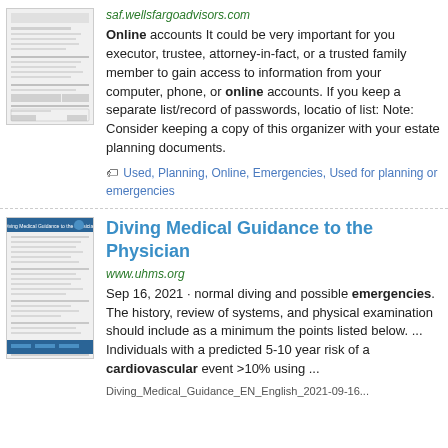[Figure (screenshot): Thumbnail of a Wells Fargo Advisors form document]
saf.wellsfargoadvisors.com
Online accounts It could be very important for your executor, trustee, attorney-in-fact, or a trusted family member to gain access to information from your computer, phone, or online accounts. If you keep a separate list/record of passwords, location of list: Note: Consider keeping a copy of this organizer with your estate planning documents.
Used, Planning, Online, Emergencies, Used for planning or emergencies
[Figure (screenshot): Thumbnail of Diving Medical Guidance to the Physician document]
Diving Medical Guidance to the Physician
www.uhms.org
Sep 16, 2021 · normal diving and possible emergencies. The history, review of systems, and physical examination should include as a minimum the points listed below. ... Individuals with a predicted 5-10 year risk of a cardiovascular event >10% using ...
Diving_Medical_Guidance_EN_English_2021-09-16...